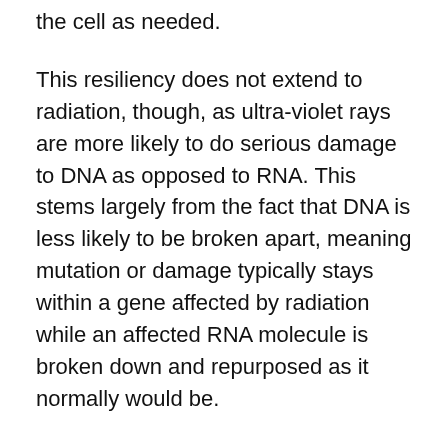the cell as needed.
This resiliency does not extend to radiation, though, as ultra-violet rays are more likely to do serious damage to DNA as opposed to RNA. This stems largely from the fact that DNA is less likely to be broken apart, meaning mutation or damage typically stays within a gene affected by radiation while an affected RNA molecule is broken down and repurposed as it normally would be.
There are also the other differences in function between the two, such as DNA's singular function of encoding genetics and RNA's multiple forms and functions (mRNA for transmitting DNA messages to a cell's cytoplasm, tRNA for transferring messages to the mRNA initially, rRNA for assisting in protein synthesis). Additionally, to accomplish all these functions, DNA is almost exclusively found in a double helix while RNA must be in a single strand.